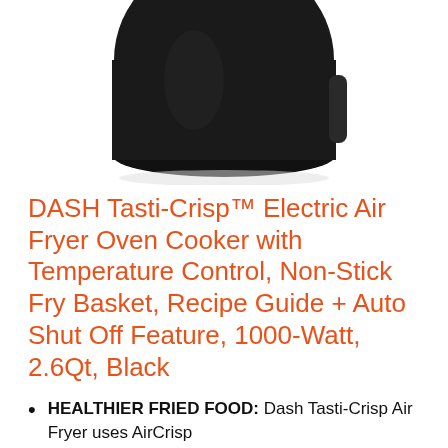[Figure (photo): Bottom portion of a black DASH Tasti-Crisp Air Fryer appliance on a white background, showing the round basket and handle.]
DASH Tasti-Crisp™ Electric Air Fryer Oven Cooker with Temperature Control, Non-Stick Fry Basket, Recipe Guide + Auto Shut Off Feature, 1000-Watt, 2.6Qt, Black
HEALTHIER FRIED FOOD: Dash Tasti-Crisp Air Fryer uses AirCrisp